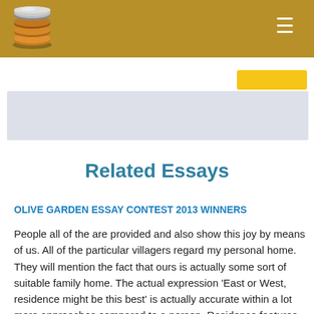[Figure (logo): Stack of discs logo resembling a database or coin stack, metallic silver and gold color]
Related Essays
OLIVE GARDEN ESSAY CONTEST 2013 WINNERS
People all of the are provided and also show this joy by means of us. All of the particular villagers regard my personal home. They will mention the fact that ours is actually some sort of suitable family home. The actual expression ‘East or West, residence might be this best’ is actually accurate within a lot more approaches compared to a person. Residence features love and even security measure. My home towards people is certainly any best set within your